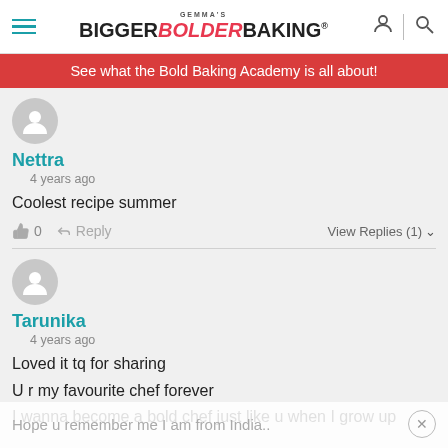[Figure (logo): Gemma's Bigger Bolder Baking logo with hamburger menu icon on the left and user/search icons on the right]
See what the Bold Baking Academy is all about!
Nettra
4 years ago
Coolest recipe summer
0  Reply  View Replies (1)
Tarunika
4 years ago
Loved it tq for sharing
U r my favourite chef forever
I wanna become a bold chef just like u when I grow up
Hope u remember me I am from India..